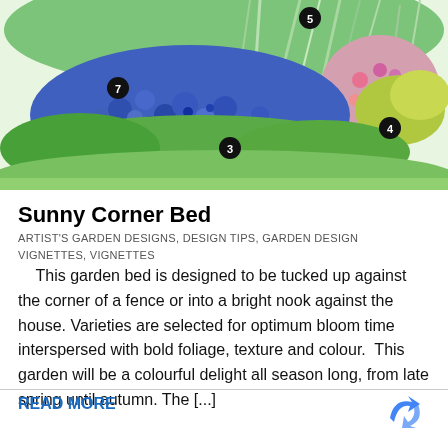[Figure (illustration): Illustrated garden bed with blue flowering plants and green foliage, numbered markers 3, 4, 5, 7 indicating plant positions]
Sunny Corner Bed
ARTIST'S GARDEN DESIGNS, DESIGN TIPS, GARDEN DESIGN VIGNETTES, VIGNETTES
This garden bed is designed to be tucked up against the corner of a fence or into a bright nook against the house. Varieties are selected for optimum bloom time interspersed with bold foliage, texture and colour.  This garden will be a colourful delight all season long, from late spring until autumn. The [...]
READ MORE